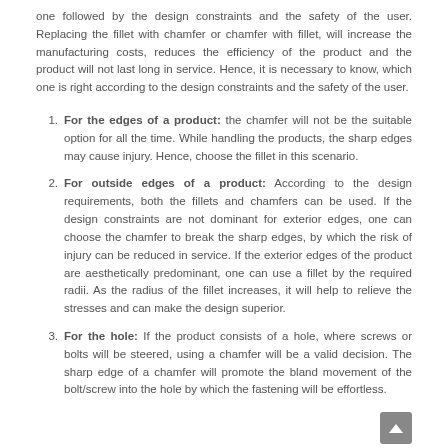one followed by the design constraints and the safety of the user. Replacing the fillet with chamfer or chamfer with fillet, will increase the manufacturing costs, reduces the efficiency of the product and the product will not last long in service. Hence, it is necessary to know, which one is right according to the design constraints and the safety of the user.
For the edges of a product: the chamfer will not be the suitable option for all the time. While handling the products, the sharp edges may cause injury. Hence, choose the fillet in this scenario.
For outside edges of a product: According to the design requirements, both the fillets and chamfers can be used. If the design constraints are not dominant for exterior edges, one can choose the chamfer to break the sharp edges, by which the risk of injury can be reduced in service. If the exterior edges of the product are aesthetically predominant, one can use a fillet by the required radii. As the radius of the fillet increases, it will help to relieve the stresses and can make the design superior.
For the hole: If the product consists of a hole, where screws or bolts will be steered, using a chamfer will be a valid decision. The sharp edge of a chamfer will promote the bland movement of the bolt/screw into the hole by which the fastening will be effortless.